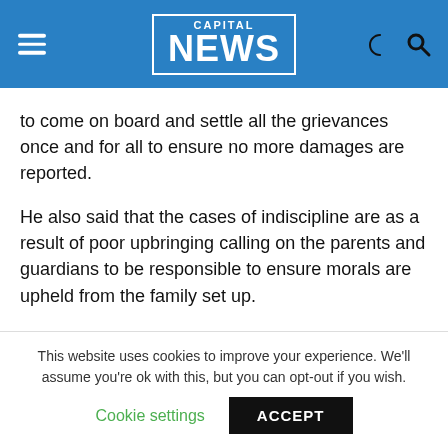CAPITAL NEWS
to come on board and settle all the grievances once and for all to ensure no more damages are reported.
He also said that the cases of indiscipline are as a result of poor upbringing calling on the parents and guardians to be responsible to ensure morals are upheld from the family set up.
He noted that children are left under the custodian of house girls saying that most parents have been busy attending to their businesses and forget their main role of parenthood.
This website uses cookies to improve your experience. We'll assume you're ok with this, but you can opt-out if you wish.